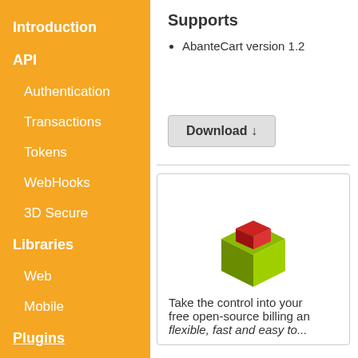Introduction
API
Authentication
Transactions
Tokens
WebHooks
3D Secure
Libraries
Web
Mobile
Plugins
References
API Response Codes
TxnResp Responses
ThreeDS Responses
Supports
AbanteCart version 1.2
Download
[Figure (logo): AbanteCart 3D cube logo — green cube with red block on top]
Take the control into your free open-source billing and flexible, fast and easy to...